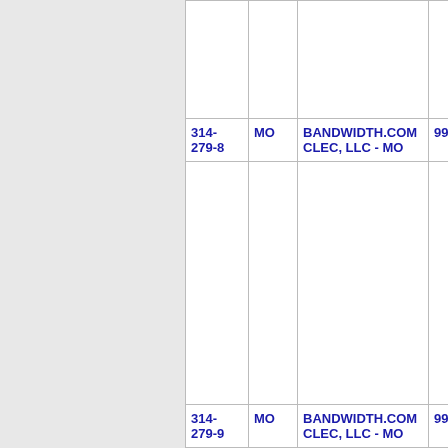| Number | State | Company | Code |
| --- | --- | --- | --- |
| 314-279-8 | MO | BANDWIDTH.COM CLEC, LLC - MO | 99 |
| 314-279-9 | MO | BANDWIDTH.COM CLEC, LLC - MO | 99 |